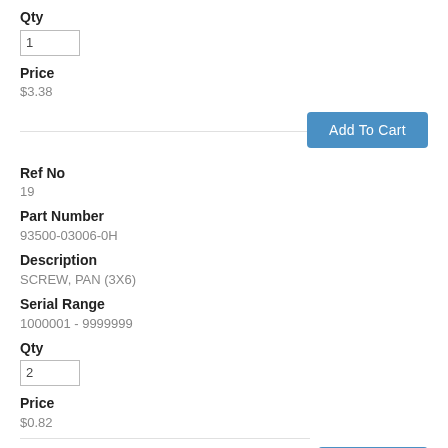Qty
1
Price
$3.38
Add To Cart
Ref No
19
Part Number
93500-03006-0H
Description
SCREW, PAN (3X6)
Serial Range
1000001 - 9999999
Qty
2
Price
$0.82
Add To Cart